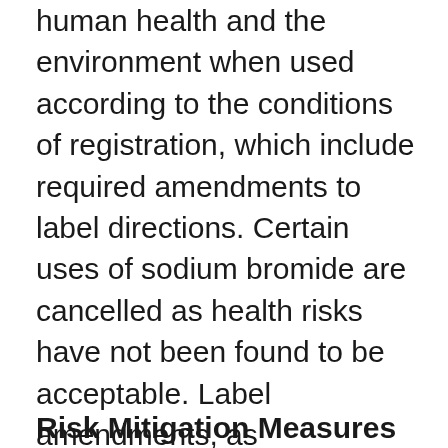human health and the environment when used according to the conditions of registration, which include required amendments to label directions. Certain uses of sodium bromide are cancelled as health risks have not been found to be acceptable. Label amendments, as summarized below and listed in Appendix III, are required for all remaining sodium bromide products as well as chlorine electrolysis devices. No additional data are required.
Risk Mitigation Measures